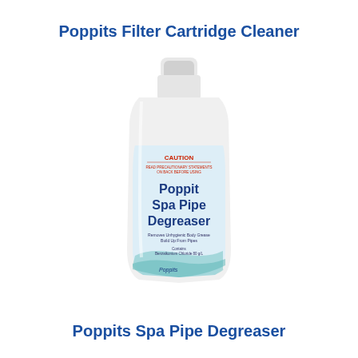Poppits Filter Cartridge Cleaner
[Figure (photo): White plastic bottle with blue and white label reading 'Poppit Spa Pipe Degreaser', with CAUTION warning at the top, text describing removal of unhygienic body grease build up from pipes, and Poppits branding at the bottom with a teal wave design.]
Poppits Spa Pipe Degreaser